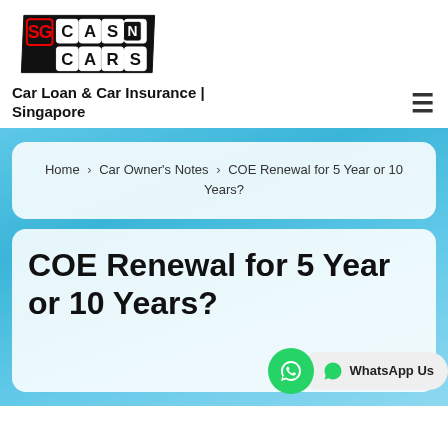[Figure (logo): SG Cash N Cars logo — bold black parallelogram outline with red-outlined letter tiles spelling SG CASH N CARS]
Car Loan & Car Insurance | Singapore
Home › Car Owner's Notes › COE Renewal for 5 Year or 10 Years?
COE Renewal for 5 Year or 10 Years?